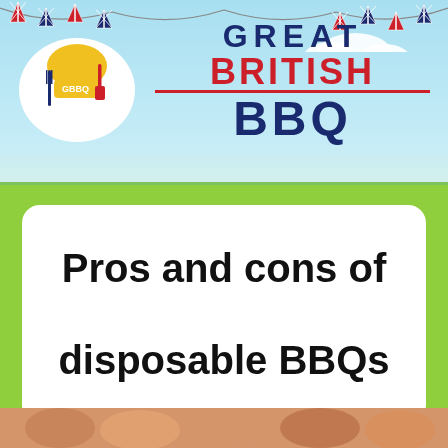[Figure (illustration): Great British BBQ logo banner with Union Jack bunting flags on sky blue background, yellow chef hat with fork and spatula, text reading GREAT BRITISH BBQ in navy and red]
Pros and cons of disposable BBQs
ADMIN BBQ Tips
[Figure (photo): Partial photo strip at bottom showing people at a BBQ]